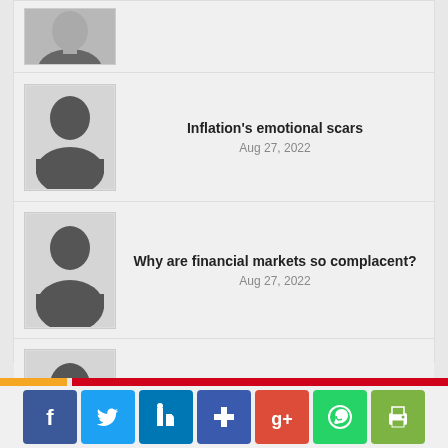[Figure (photo): Partial thumbnail of a person at the top (cropped)]
Inflation's emotional scars
Aug 27, 2022
Why are financial markets so complacent?
Aug 27, 2022
Did the Afghan failure lead to the Ukraine war?
Aug 27, 2022
[Figure (infographic): Social media sharing icons: Facebook, Twitter, LinkedIn, Share, Google+, WhatsApp, Print]